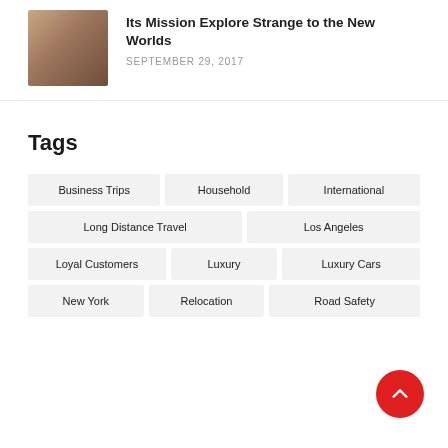[Figure (photo): Photo of a couple sitting together looking at something, woman in red top and man in blue shirt]
Its Mission Explore Strange to the New Worlds
SEPTEMBER 29, 2017
Tags
Business Trips
Household
International
Long Distance Travel
Los Angeles
Loyal Customers
Luxury
Luxury Cars
New York
Relocation
Road Safety